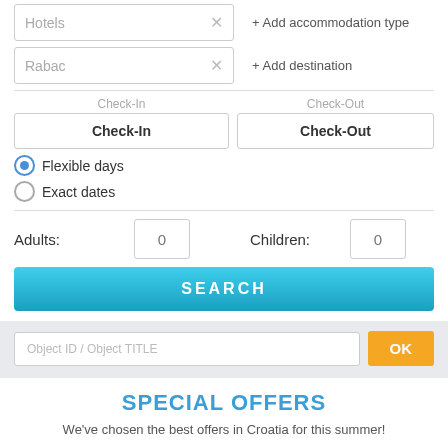[Figure (screenshot): Travel booking search form UI with accommodation type (Hotels), destination (Rabac), check-in/check-out date pickers, flexible days / exact dates radio buttons, adults and children number inputs, a SEARCH button, an object ID/title search field with OK button, and a SPECIAL OFFERS section.]